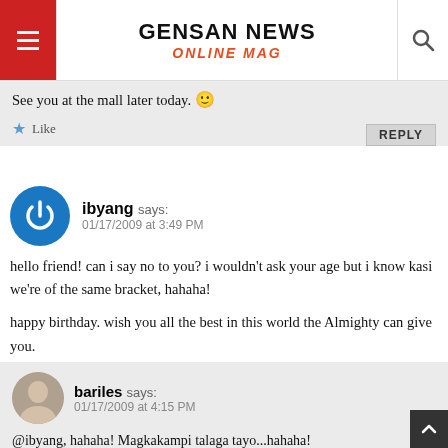GENSAN NEWS ONLINE MAG
See you at the mall later today. 🙂
Like   REPLY
ibyang says: 01/17/2009 at 3:49 PM
hello friend! can i say no to you? i wouldn't ask your age but i know kasi we're of the same bracket, hahaha!
happy birthday. wish you all the best in this world the Almighty can give you.
Like   REPLY
bariles says: 01/17/2009 at 4:15 PM
@ibyang, hahaha! Magkakampi talaga tayo...hahaha!